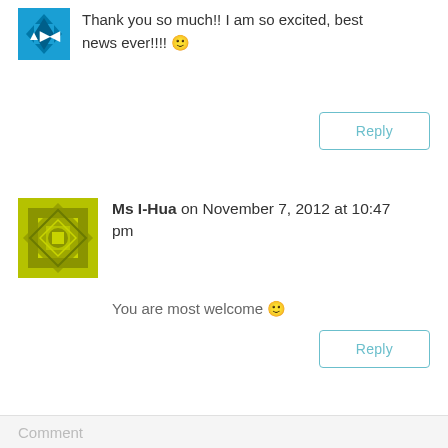Thank you so much!! I am so excited, best news ever!!!! 😊
Reply
Ms I-Hua on November 7, 2012 at 10:47 pm
You are most welcome 🙂
Reply
Leave a Reply to Ms I-Hua
Cancel reply
Your email address will not be published. Required fields are marked *
Comment